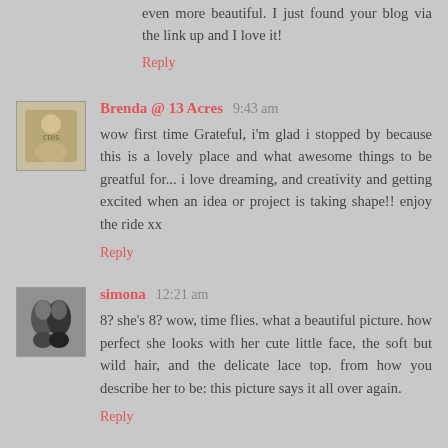even more beautiful. I just found your blog via the link up and I love it!
Reply
Brenda @ 13 Acres  9:43 am
wow first time Grateful, i'm glad i stopped by because this is a lovely place and what awesome things to be greatful for... i love dreaming, and creativity and getting excited when an idea or project is taking shape!! enjoy the ride xx
Reply
simona  12:21 am
8? she's 8? wow, time flies. what a beautiful picture. how perfect she looks with her cute little face, the soft but wild hair, and the delicate lace top. from how you describe her to be: this picture says it all over again.
Reply